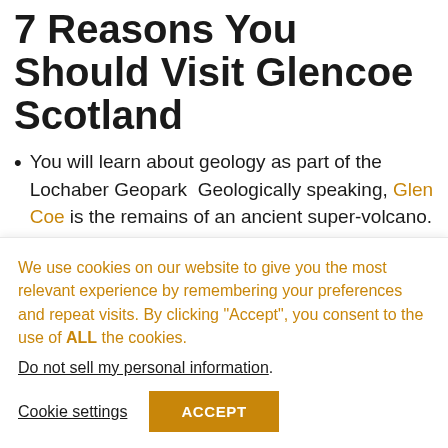7 Reasons You Should Visit Glencoe Scotland
You will learn about geology as part of the Lochaber Geopark  Geologically speaking, Glen Coe is the remains of an ancient super-volcano. The eruptions took place about 420 million years ago and the volcano has long since become extinct.
It's a great place to relieve stress and anxiety. Glencoe has the best woodland walks to help you switch off. Walking in
We use cookies on our website to give you the most relevant experience by remembering your preferences and repeat visits. By clicking “Accept”, you consent to the use of ALL the cookies.
Do not sell my personal information.
Cookie settings  ACCEPT